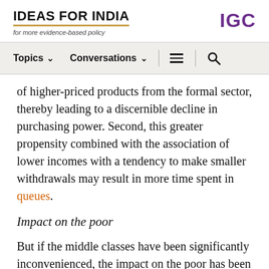IDEAS FOR INDIA — for more evidence-based policy | IGC
Topics ∨  Conversations ∨  ≡  🔍
of higher-priced products from the formal sector, thereby leading to a discernible decline in purchasing power. Second, this greater propensity combined with the association of lower incomes with a tendency to make smaller withdrawals may result in more time spent in queues.
Impact on the poor
But if the middle classes have been significantly inconvenienced, the impact on the poor has been catastrophic. Most poor